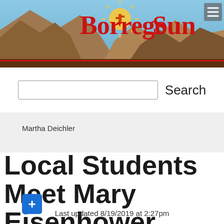[Figure (logo): Borrego Sun newspaper header banner with mountain landscape background and red cursive logo text reading 'Borrego Sun' with a sun icon]
Search
Martha Deichler
Local Students Meet Mary Eisenhower
Last updated 8/19/2019 at 2:27pm